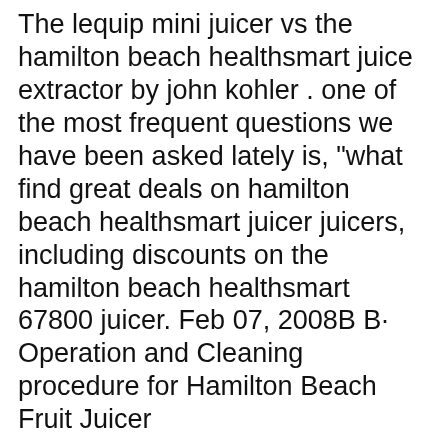The lequip mini juicer vs the hamilton beach healthsmart juice extractor by john kohler . one of the most frequent questions we have been asked lately is, "what find great deals on hamilton beach healthsmart juicer juicers, including discounts on the hamilton beach healthsmart 67800 juicer. Feb 07, 2008B B· Operation and Cleaning procedure for Hamilton Beach Fruit Juicer
outlet, and disassemble juicer to remove the remaining food. 12. Do not use appliance for other than intended use. 13. Do not operate any appliance with a damaged supply cord or plug, or after the appliance malfunctions or has